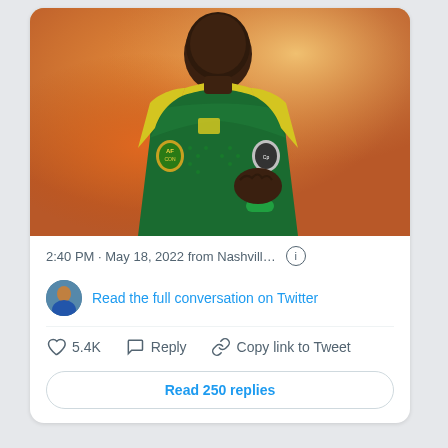[Figure (photo): A soccer/football player wearing a green Senegal national team jersey with PUMA logo and AFCON badge, hand on chest, against a warm orange/yellow bokeh background.]
2:40 PM · May 18, 2022 from Nashvill… ℹ
Read the full conversation on Twitter
♡ 5.4K   Reply   Copy link to Tweet
Read 250 replies